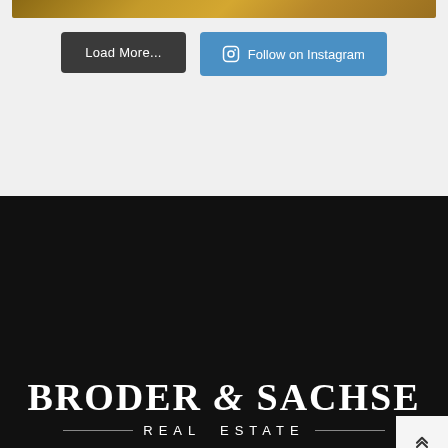[Figure (photo): Top portion of food/Instagram image visible at very top of page, showing warm-toned food items on wooden surface]
Load More...
Follow on Instagram
[Figure (logo): Broder & Sachse Real Estate logo in white on black background, with decorative ampersand and 'REAL ESTATE' subtitle with horizontal lines]
BRODER & SACHSE REAL ESTATE